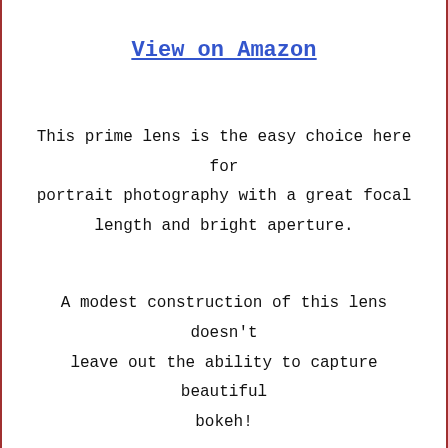View on Amazon
This prime lens is the easy choice here for portrait photography with a great focal length and bright aperture.
A modest construction of this lens doesn't leave out the ability to capture beautiful bokeh!